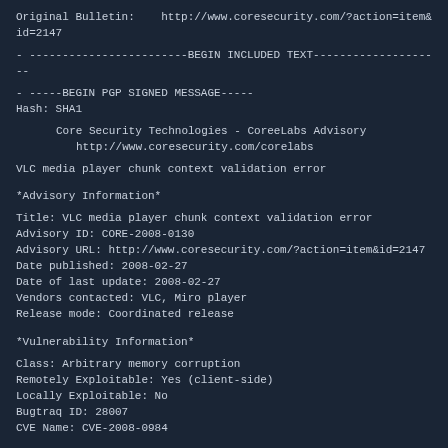Original Bulletin:    http://www.coresecurity.com/?action=item&id=2147
- ------------------------BEGIN INCLUDED TEXT--------------------
- -----BEGIN PGP SIGNED MESSAGE-----
Hash: SHA1
Core Security Technologies - CoreeLabs Advisory
    http://www.coresecurity.com/corelabs
VLC media player chunk context validation error
*Advisory Information*
Title: VLC media player chunk context validation error
Advisory ID: CORE-2008-0130
Advisory URL: http://www.coresecurity.com/?action=item&id=2147
Date published: 2008-02-27
Date of last update: 2008-02-27
Vendors contacted: VLC, Miro player
Release mode: Coordinated release
*Vulnerability Information*
Class: Arbitrary memory corruption
Remotely Exploitable: Yes (client-side)
Locally Exploitable: No
Bugtraq ID: 28007
CVE Name: CVE-2008-0984